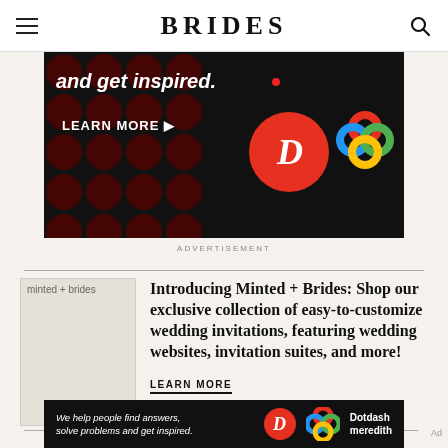BRIDES
[Figure (screenshot): Advertisement banner with dark background showing polka dot pattern, 'and get inspired.' text, 'LEARN MORE' button with arrow, D logo circle and colorful knot logo]
ADVERTISEMENT
[Figure (photo): Placeholder image labeled 'minted + brides']
Introducing Minted + Brides: Shop our exclusive collection of easy-to-customize wedding invitations, featuring wedding websites, invitation suites, and more!
LEARN MORE
[Figure (screenshot): Dotdash Meredith bottom advertisement: 'We help people find answers, solve problems and get inspired.' with D logo and colorful knot logo]